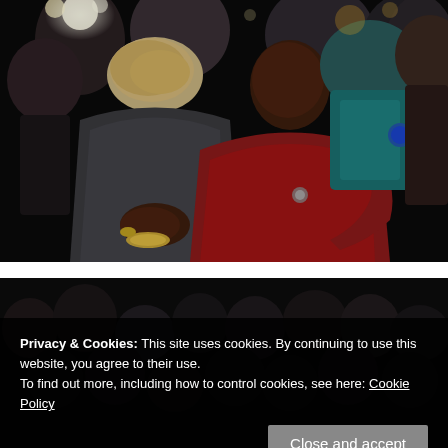[Figure (photo): A person in a red jacket hugging another person in a dark gray jacket from behind, surrounded by a crowd at an event. Multiple people visible in the background, one wearing a blue teal outfit.]
[Figure (photo): A crowd of people seated and standing, appearing to be at an event or gathering. Partially obscured by a cookie consent banner overlay.]
Privacy & Cookies: This site uses cookies. By continuing to use this website, you agree to their use.
To find out more, including how to control cookies, see here: Cookie Policy
Close and accept